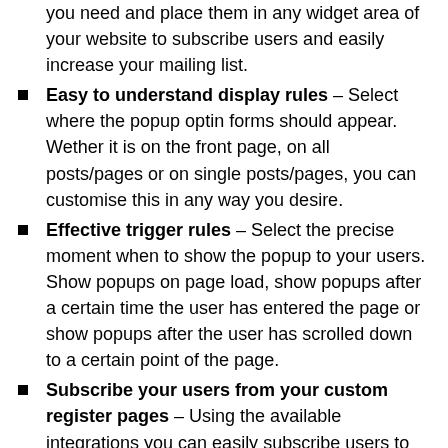you need and place them in any widget area of your website to subscribe users and easily increase your mailing list.
Easy to understand display rules – Select where the popup optin forms should appear. Wether it is on the front page, on all posts/pages or on single posts/pages, you can customise this in any way you desire.
Effective trigger rules – Select the precise moment when to show the popup to your users. Show popups on page load, show popups after a certain time the user has entered the page or show popups after the user has scrolled down to a certain point of the page.
Subscribe your users from your custom register pages – Using the available integrations you can easily subscribe users to your newsletters from the custom registration pages provided by other plugins. Supported plugins